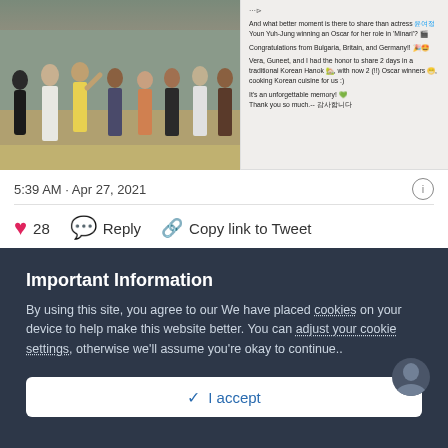[Figure (screenshot): Tweet screenshot showing group photo on left and tweet text on right about actress Youn Yuh-Jung winning an Oscar for her role in Minari]
5:39 AM · Apr 27, 2021
28  Reply  Copy link to Tweet
Important Information
By using this site, you agree to our We have placed cookies on your device to help make this website better. You can adjust your cookie settings, otherwise we'll assume you're okay to continue..
✓ I accept